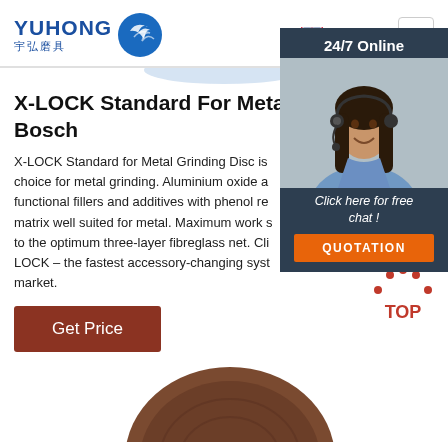[Figure (logo): Yuhong logo with Chinese characters 宇弘磨具 and blue wave icon]
English ∨
X-LOCK Standard For Metal Grinding Disc Bosch
X-LOCK Standard for Metal Grinding Disc is choice for metal grinding. Aluminium oxide al functional fillers and additives with phenol re matrix well suited for metal. Maximum work s to the optimum three-layer fibreglass net. Cli LOCK – the fastest accessory-changing syst market.
Get Price
[Figure (photo): 24/7 Online customer service representative with headset, smiling. Dark background with chat prompt and QUOTATION button.]
[Figure (illustration): TOP button icon with red dots forming an arc above the word TOP in red]
[Figure (photo): Brown/dark grinding disc product image partially visible at bottom]